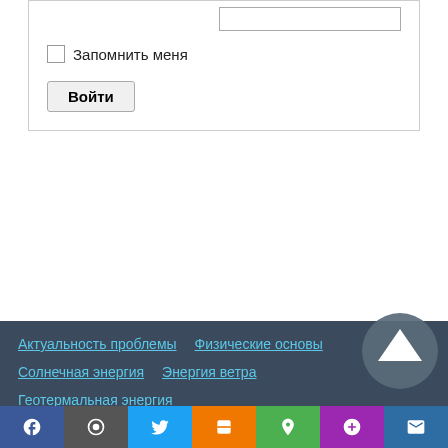[Figure (screenshot): Login form fragment showing a text input field, a 'Remember me' checkbox, and a 'Войти' (Login) button inside a bordered box.]
Актуальность проблемы  Физические основы
Солнечная энергия  Энергия ветра
Геотермальная энергия
Нетрадиционная гидроэнергетика  Биоэнергетика
Аккумуляторы  Энергосбережение  Автономный дом
Новости альтернативной энергетики